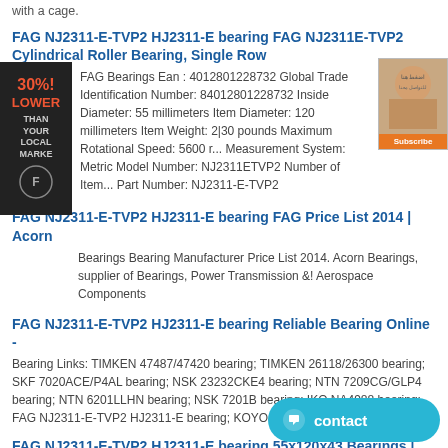with a cage.
FAG NJ2311-E-TVP2 HJ2311-E bearing FAG NJ2311E-TVP2 Cylindrical Roller Bearing, Single Row
FAG Bearings Ean : 4012801228732 Global Trade Identification Number: 84012801228732 Inside Diameter: 55 millimeters Item Diameter: 120 millimeters Item Weight: 2|30 pounds Maximum Rotational Speed: 5600 r... Measurement System: Metric Model Number: NJ2311ETVP2 Number of Item... Part Number: NJ2311-E-TVP2
FAG NJ2311-E-TVP2 HJ2311-E bearing FAG Price List 2014 | Acorn
Bearings Bearing Manufacturer Price List 2014. Acorn Bearings, supplier of Bearings, Power Transmission &! Aerospace Components
FAG NJ2311-E-TVP2 HJ2311-E bearing Reliable Bearing Online -
Bearing Links: TIMKEN 47487/47420 bearing; TIMKEN 26118/26300 bearing; SKF 7020ACE/P4AL bearing; NSK 23232CKE4 bearing; NTN 7209CG/GLP4 bearing; NTN 6201LLHN bearing; NSK 7201B bearing; IKO NA4988 bearing; FAG NJ2311-E-TVP2 HJ2311-E bearing; KOYO NF211 bearing
FAG NJ2311-E-TVP2 HJ2311-E bearing 55x120x43 Bearings | Bearings Online
Bearing NJ2311,E,TVP2 + HJ2311,E (Cylindrical roller bearing NJ2311,E,TVP3 (Cylindrical roller bearings / NKE) Bearing